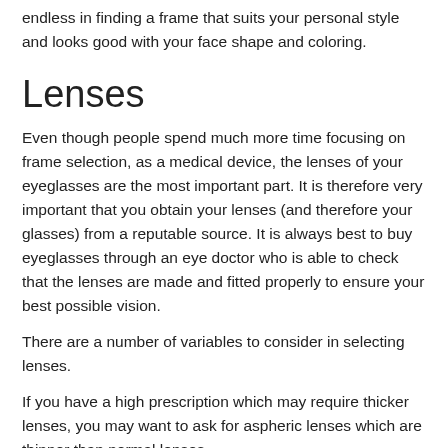endless in finding a frame that suits your personal style and looks good with your face shape and coloring.
Lenses
Even though people spend much more time focusing on frame selection, as a medical device, the lenses of your eyeglasses are the most important part. It is therefore very important that you obtain your lenses (and therefore your glasses) from a reputable source. It is always best to buy eyeglasses through an eye doctor who is able to check that the lenses are made and fitted properly to ensure your best possible vision.
There are a number of variables to consider in selecting lenses.
If you have a high prescription which may require thicker lenses, you may want to ask for aspheric lenses which are thinner than normal lenses.
There are lenses that are made from materials that are more durable and shatter-resistant such as polycarbonate or trivex